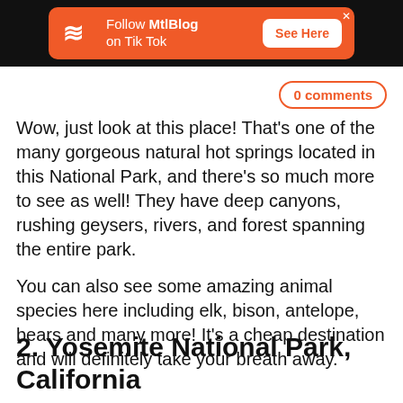[Figure (other): Orange advertisement banner for MtlBlog TikTok on black background. Contains MtlBlog logo (Z icon), text 'Follow MtlBlog on Tik Tok', a white 'See Here' button, and an X close button.]
0 comments
Wow, just look at this place! That's one of the many gorgeous natural hot springs located in this National Park, and there's so much more to see as well! They have deep canyons, rushing geysers, rivers, and forest spanning the entire park.
You can also see some amazing animal species here including elk, bison, antelope, bears and many more! It's a cheap destination and will definitely take your breath away.
2. Yosemite National Park, California